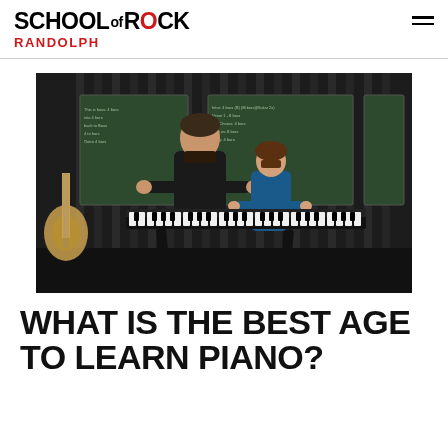SCHOOL OF ROCK — RANDOLPH
[Figure (photo): A music teacher and a young student playing keyboards together at a piano in a School of Rock studio, with a chalkboard covered in music notes behind them and a guitar visible on the left.]
WHAT IS THE BEST AGE TO LEARN PIANO?